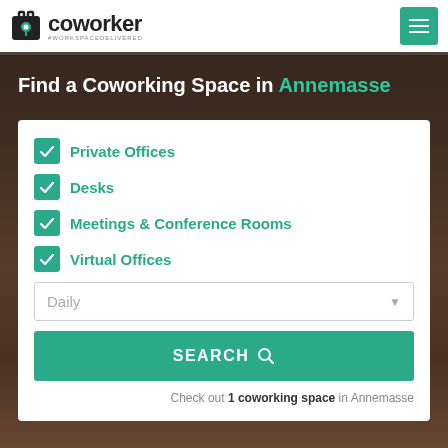coworker #WORKSPACEDELIVERED
Find a Coworking Space in Annemasse
Private Offices
Desks
Meetings & Conference Rooms
Virtual Offices
Daily
SEARCH
Check out 1 coworking space in Annemasse